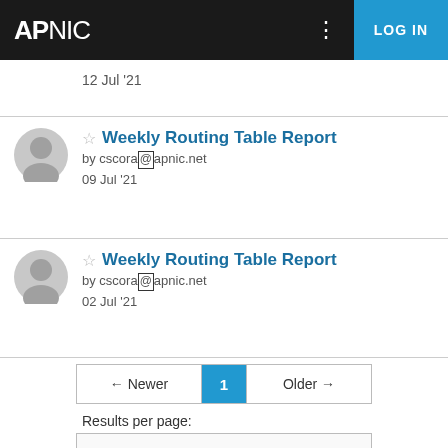APNIC | LOG IN
12 Jul '21
★ Weekly Routing Table Report
by cscora@apnic.net
09 Jul '21
★ Weekly Routing Table Report
by cscora@apnic.net
02 Jul '21
← Newer  1  Older →
Results per page: